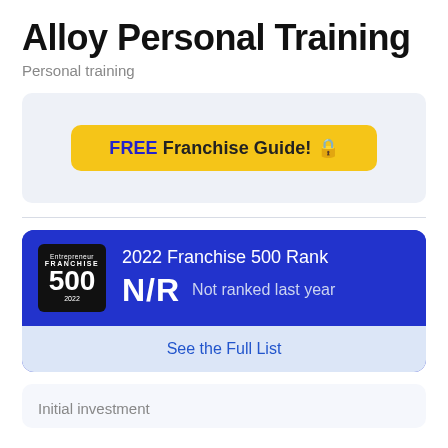Alloy Personal Training
Personal training
FREE Franchise Guide! 🔒
2022 Franchise 500 Rank
N/R  Not ranked last year
See the Full List
Initial investment